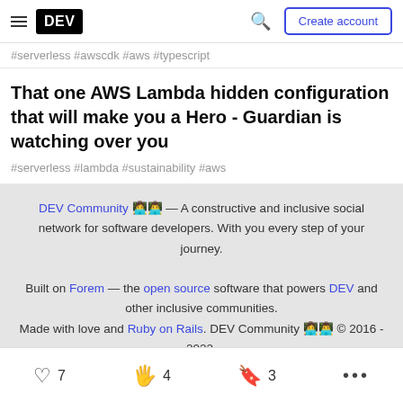DEV — Create account
#serverless #awscdk #aws #typescript
That one AWS Lambda hidden configuration that will make you a Hero - Guardian is watching over you
#serverless #lambda #sustainability #aws
DEV Community 👩‍💻👨‍💻 — A constructive and inclusive social network for software developers. With you every step of your journey. Built on Forem — the open source software that powers DEV and other inclusive communities. Made with love and Ruby on Rails. DEV Community 👩‍💻👨‍💻 © 2016 - 2022.
♡ 7   🦗 4   🔖 3   ...